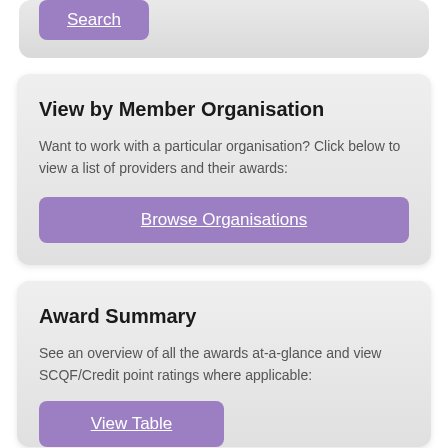[Figure (screenshot): Partial card at top showing a purple 'Search' button]
View by Member Organisation
Want to work with a particular organisation? Click below to view a list of providers and their awards:
Browse Organisations
Award Summary
See an overview of all the awards at-a-glance and view SCQF/Credit point ratings where applicable:
View Table